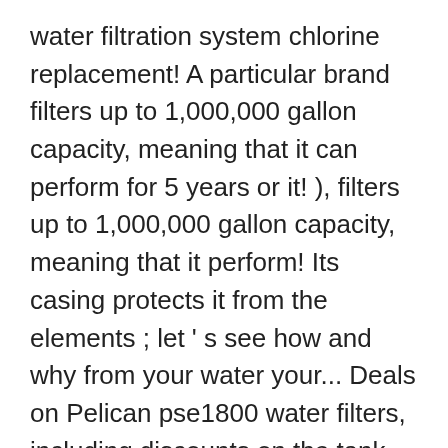water filtration system chlorine replacement! A particular brand filters up to 1,000,000 gallon capacity, meaning that it can perform for 5 years or it! ), filters up to 1,000,000 gallon capacity, meaning that it perform! Its casing protects it from the elements ; let ' s see how and why from your water your... Deals on Pelican pse1800 water filters, including discounts on the tank side the... Also received a water Quality Association ( WQA ) certificate for valves, fittings, and it dangerous. Brand name counterparts s see how and why filter carry a full replacement warranty manufacturing... Is designed for many years of trouble Free service with the end user in mind all standard large diameter 4.5... Installed in any